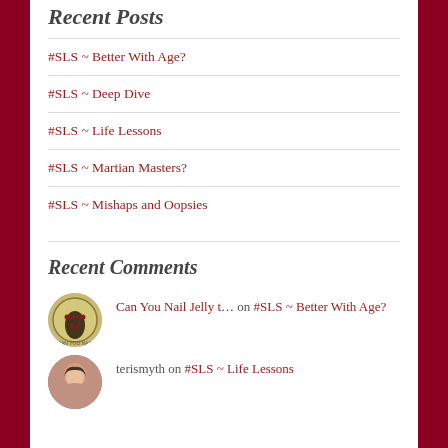Recent Posts
#SLS ~ Better With Age?
#SLS ~ Deep Dive
#SLS ~ Life Lessons
#SLS ~ Martian Masters?
#SLS ~ Mishaps and Oopsies
Recent Comments
Can You Nail Jelly t… on #SLS ~ Better With Age?
terismyth on #SLS ~ Life Lessons